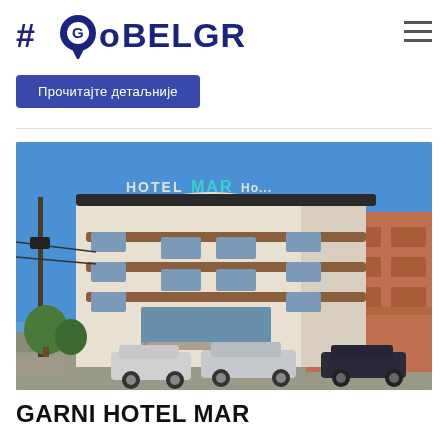#Go BELGRADE
Прочитајте детаљније
[Figure (photo): Exterior photograph of Garni Hotel Mar, a modern multi-story building with curved facade, brown/beige color scheme, glass windows, and green rooftop signage reading HOTEL MAR. Cars parked in front, clear blue sky background, another brick building visible to the right.]
GARNI HOTEL MAR